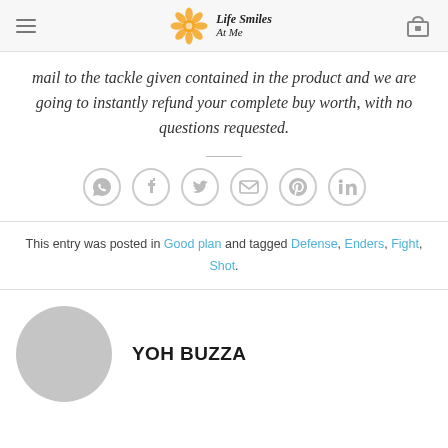Life Smiles At Me
mail to the tackle given contained in the product and we are going to instantly refund your complete buy worth, with no questions requested.
[Figure (infographic): Social share icons: WhatsApp, Facebook, Twitter, Email, Pinterest, LinkedIn — each in a circle outline]
This entry was posted in Good plan and tagged Defense, Enders, Fight, Shot.
YOH BUZZA